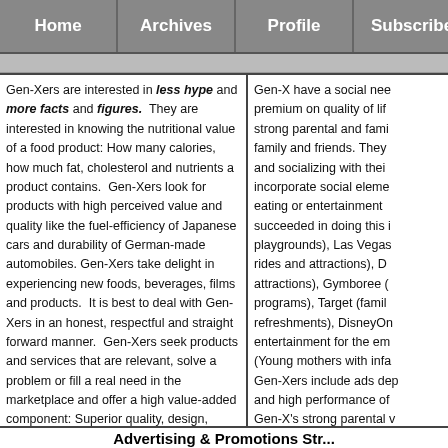Home | Archives | Profile | Subscribe
Gen-Xers are interested in less hype and more facts and figures. They are interested in knowing the nutritional value of a food product: How many calories, how much fat, cholesterol and nutrients a product contains. Gen-Xers look for products with high perceived value and quality like the fuel-efficiency of Japanese cars and durability of German-made automobiles. Gen-Xers take delight in experiencing new foods, beverages, films and products. It is best to deal with Gen-Xers in an honest, respectful and straight forward manner. Gen-Xers seek products and services that are relevant, solve a problem or fill a real need in the marketplace and offer a high value-added component: Superior quality, design, durability, features and convenience.
Gen-X have a social need... premium on quality of life... strong parental and family... family and friends. They... and socializing with their... incorporate social elements... eating or entertainment... succeeded in doing this in... playgrounds), Las Vegas... rides and attractions), D... attractions), Gymboree (... programs), Target (famil... refreshments), DisneyOn... entertainment for the em... (Young mothers with infa... Gen-Xers include ads dep... and high performance of... Gen-X's strong parental v...
Advertising & Promotions Str...